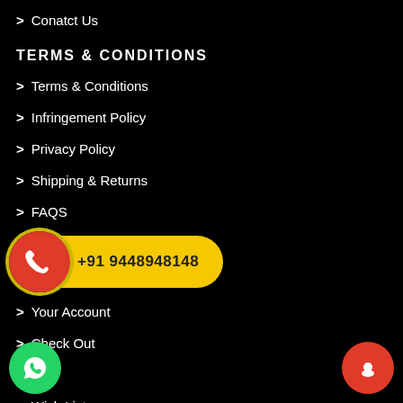> Conatct Us
TERMS & CONDITIONS
> Terms & Conditions
> Infringement Policy
> Privacy Policy
> Shipping & Returns
> FAQS
[Figure (infographic): Phone call button with red circular icon containing a white phone handset on left, and yellow pill-shaped button showing +91 9448948148]
> Your Account
> Check Out
> Cart
> Wish List
[Figure (logo): WhatsApp green circular button at bottom left]
[Figure (logo): Red circular chat/message button at bottom right]